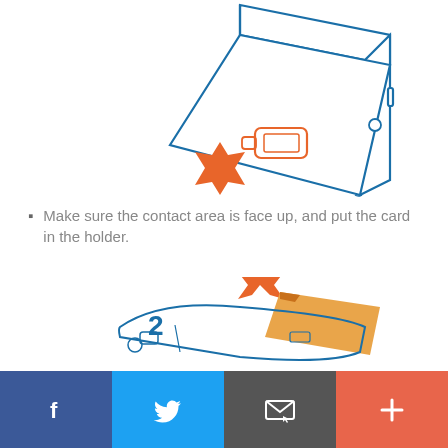[Figure (illustration): Line drawing (blue) of a smartphone with an orange SIM card tray being ejected/pulled out with an orange arrow pointing left-downward.]
Make sure the contact area is face up, and put the card in the holder.
[Figure (illustration): Step 2: Orange arrow pointing at an orange SIM card above a blue line-drawn SIM card tray/holder. Number '2' shown in blue.]
Facebook | Twitter | Email | Plus (share buttons)